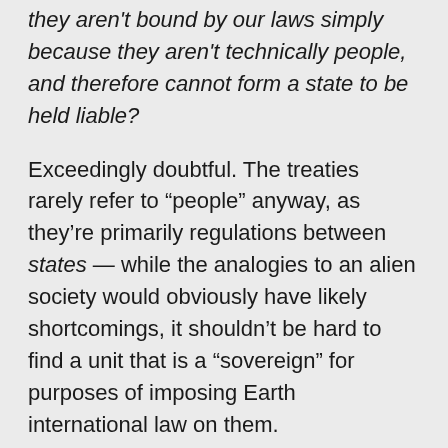they aren't bound by our laws simply because they aren't technically people, and therefore cannot form a state to be held liable?
Exceedingly doubtful. The treaties rarely refer to “people” anyway, as they’re primarily regulations between states — while the analogies to an alien society would obviously have likely shortcomings, it shouldn’t be hard to find a unit that is a “sovereign” for purposes of imposing Earth international law on them.
Assuming a judgement was issued, who could enforce it? Wouldn’t the whole thing end up being just a media spectacle,